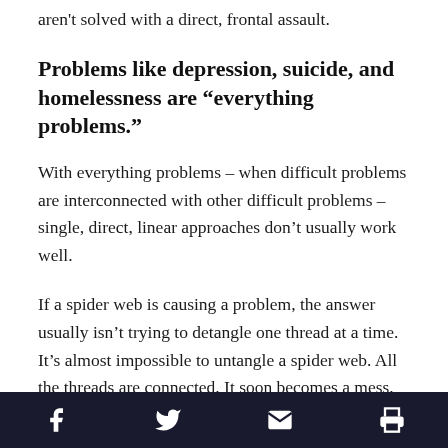aren't solved with a direct, frontal assault.
Problems like depression, suicide, and homelessness are “everything problems.”
With everything problems – when difficult problems are interconnected with other difficult problems – single, direct, linear approaches don’t usually work well.
If a spider web is causing a problem, the answer usually isn’t trying to detangle one thread at a time. It’s almost impossible to untangle a spider web. All the threads are connected. It soon becomes a mess.
The better approach is to after the spider.
Social share and print icons